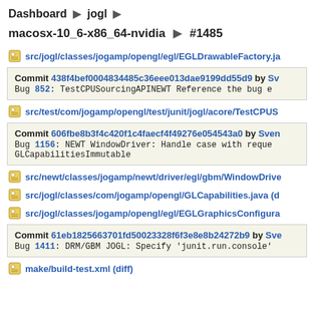Dashboard ▶ jogl ▶
macosx-10_6-x86_64-nvidia ▶ #1485
src/jogl/classes/jogamp/opengl/egl/EGLDrawableFactory.ja
Commit 438f4bef0004834485c36eee013dae9199dd55d9 by Sv
Bug 852: TestCPUSourcingAPINEWT Reference the bug e
src/test/com/jogamp/opengl/test/junit/jogl/acore/TestCPUS
Commit 606fbe8b3f4c420f1c4faecf4f49276e054543a0 by Sven
Bug 1156: NEWT WindowDriver: Handle case with reque
GLCapabilitiesImmutable
src/newt/classes/jogamp/newt/driver/egl/gbm/WindowDrive
src/jogl/classes/com/jogamp/opengl/GLCapabilities.java (d
src/jogl/classes/jogamp/opengl/egl/EGLGraphicsConfigura
Commit 61eb1825663701fd50023328f6f3e8e8b24272b9 by Sve
Bug 1411: DRM/GBM JOGL: Specify 'junit.run.console'
make/build-test.xml (diff)